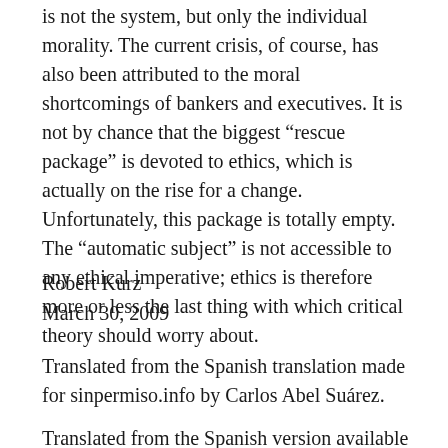is not the system, but only the individual morality. The current crisis, of course, has also been attributed to the moral shortcomings of bankers and executives. It is not by chance that the biggest “rescue package” is devoted to ethics, which is actually on the rise for a change. Unfortunately, this package is totally empty. The “automatic subject” is not accessible to any ethical imperative; ethics is therefore more or less the last thing with which critical theory should worry about.
Robert Kurz
March 30, 2009
Translated from the Spanish translation made for sinpermiso.info by Carlos Abel Suárez.
Translated from the Spanish version available online at: